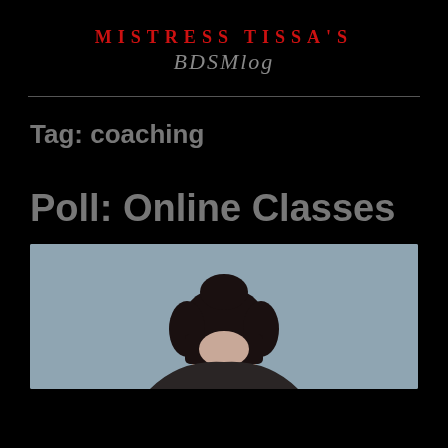MISTRESS TISSA'S BDSMlog
Tag: coaching
Poll: Online Classes
[Figure (photo): Partial photo of a person with dark hair pinned up, against a grey-blue background, cropped at shoulder level]